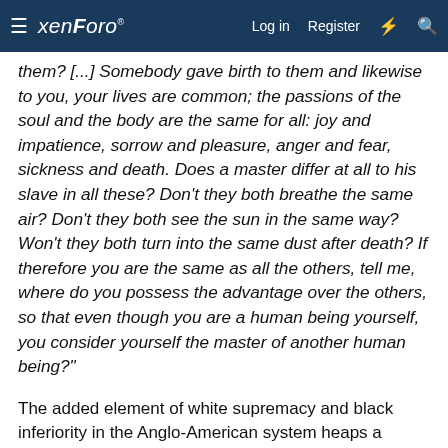xenForo — Log in  Register
them? [...] Somebody gave birth to them and likewise to you, your lives are common; the passions of the soul and the body are the same for all: joy and impatience, sorrow and pleasure, anger and fear, sickness and death. Does a master differ at all to his slave in all these? Don't they both breathe the same air? Don't they both see the sun in the same way? Won't they both turn into the same dust after death? If therefore you are the same as all the others, tell me, where do you possess the advantage over the others, so that even though you are a human being yourself, you consider yourself the master of another human being?"
The added element of white supremacy and black inferiority in the Anglo-American system heaps a blasphemy upon a blasphemy as it contradicts the Biblical notion that all men are of one race as articulated by St. Nephon:
"just as the Earth produces both white and dark grapes, thus does it also give light and dark-skinned people; however, all of them are children of God, destined for Paradise."